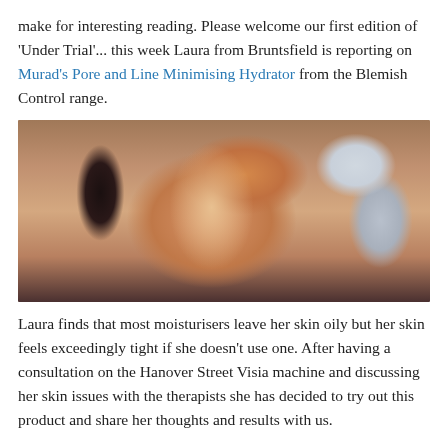make for interesting reading. Please welcome our first edition of 'Under Trial'... this week Laura from Bruntsfield is reporting on Murad's Pore and Line Minimising Hydrator from the Blemish Control range.
[Figure (photo): Portrait photo of a young woman with long auburn/red hair, smiling, wearing a black lace top, photographed against a light background.]
Laura finds that most moisturisers leave her skin oily but her skin feels exceedingly tight if she doesn't use one. After having a consultation on the Hanover Street Visia machine and discussing her skin issues with the therapists she has decided to try out this product and share her thoughts and results with us.